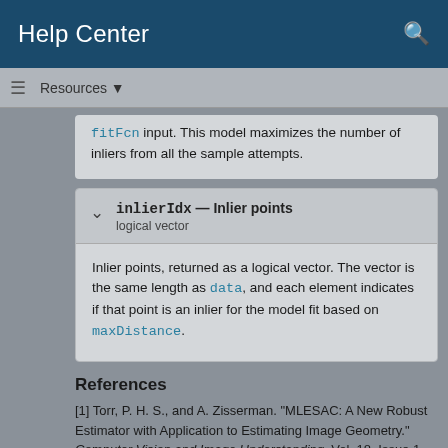Help Center
Resources ▼
fitFcn input. This model maximizes the number of inliers from all the sample attempts.
inlierIdx — Inlier points
logical vector
Inlier points, returned as a logical vector. The vector is the same length as data, and each element indicates if that point is an inlier for the model fit based on maxDistance.
References
[1] Torr, P. H. S., and A. Zisserman. "MLESAC: A New Robust Estimator with Application to Estimating Image Geometry." Computer Vision and Image Understanding. Vol. 18, Issue 1, April